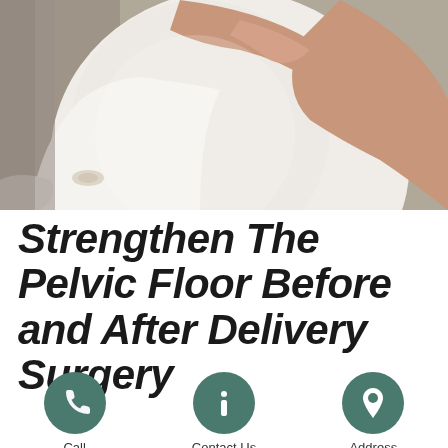[Figure (photo): Close-up photo of a pregnant woman in a white top, seated on a grey sofa, hands resting on her large belly. Her back and shoulder are visible on the right side.]
Strengthen The Pelvic Floor Before and After Delivery Surgery
[Figure (infographic): Three teal/dark green circular icons in a row: a phone/call icon, an info 'i' icon, and a location pin icon, with labels 'Call', 'Contact Us', and 'Address' below each.]